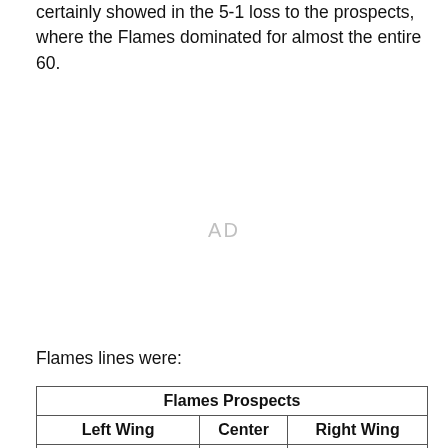certainly showed in the 5-1 loss to the prospects, where the Flames dominated for almost the entire 60.
[Figure (other): AD placeholder — advertisement space]
Flames lines were:
| Left Wing | Center | Right Wing |
| --- | --- | --- |
| Andrew Mangiapane | Bill Arnold | Morgan Klimchuk |